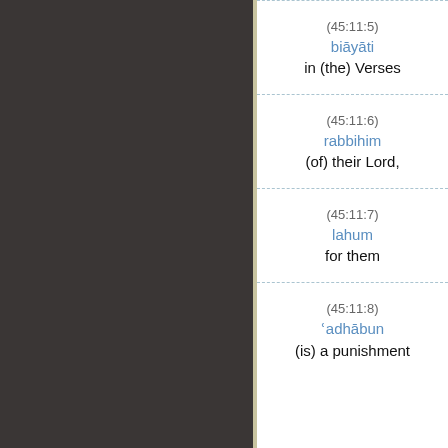(45:11:5)
biāyāti
in (the) Verses
(45:11:6)
rabbihim
(of) their Lord,
(45:11:7)
lahum
for them
(45:11:8)
ʿadhābun
(is) a punishment